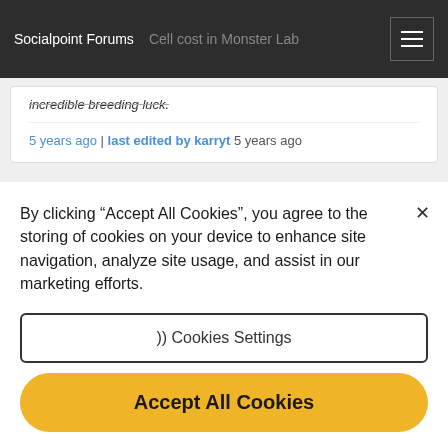Socialpoint Forums | Cell cost in Monster Lab
incredible breeding luck.
5 years ago | last edited by karryt 5 years ago
By clicking “Accept All Cookies”, you agree to the storing of cookies on your device to enhance site navigation, analyze site usage, and assist in our marketing efforts.
}) Cookies Settings
Accept All Cookies